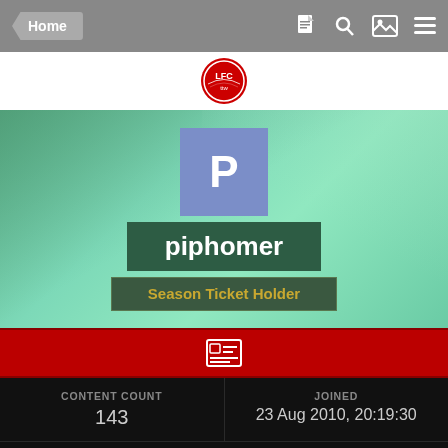Home
[Figure (logo): Liverpool FC / TTW red circular logo with liver bird]
[Figure (illustration): User profile banner with green gradient background, blue avatar with letter P, username piphomer, rank Season Ticket Holder]
CONTENT COUNT
143
JOINED
23 Aug 2010, 20:19:30
LAST VISITED
19 Aug 2022, 10:03:01